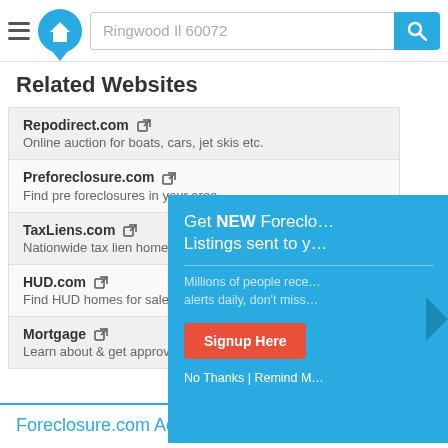Ringwood Il 60072
Related Websites
Repodirect.com — Online auction for boats, cars, jet skis etc.
Preforeclosure.com — Find pre foreclosures in your area.
TaxLiens.com — Nationwide tax lien home search.
HUD.com — Find HUD homes for sale.
Mortgage — Learn about & get approved for a Mo...
[Figure (screenshot): Popup overlay: Get NEW Foreclosure Listings sent to you. Millions of people receive alerts daily, don't miss. Signup Here button. No Thanks | Remind M...]
Foreclosure.com Advantages